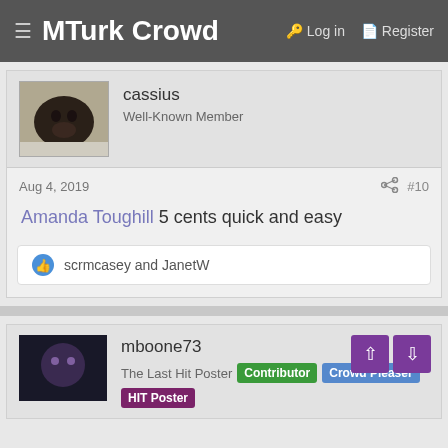MTurk Crowd  Login  Register
cassius
Well-Known Member
Aug 4, 2019  #10
Amanda Toughill 5 cents quick and easy
scrmcasey and JanetW
mboone73
The Last Hit Poster  Contributor  Crowd Pleaser  HIT Poster